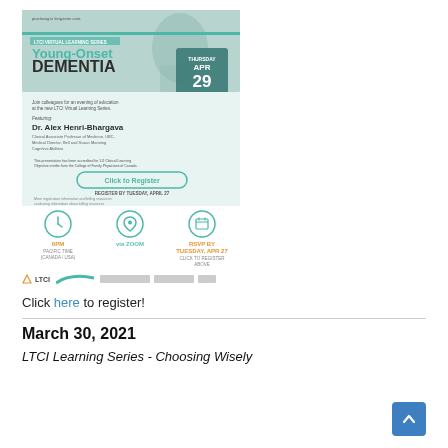[Figure (infographic): Event flyer for Young-Onset Dementia LTCI Virtual Learning Series on Thursday April 29 2021, featuring Dr. Alex Henri-Bhargava, with Click to Register button and RSVP by Tuesday April 27]
Click here to register!
March 30, 2021
LTCI Learning Series - Choosing Wisely